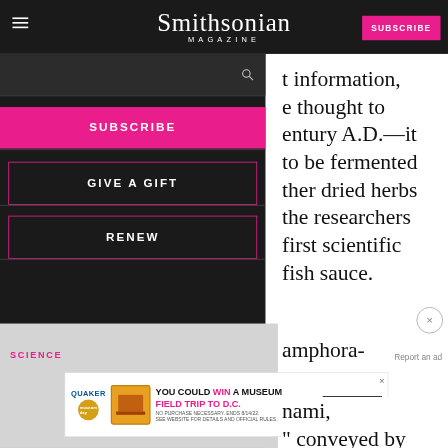Smithsonian MAGAZINE
[Figure (screenshot): Smithsonian Magazine website navigation overlay showing header with logo, hamburger menu, subscribe button, search bar, and navigation links: SUBSCRIBE, GIVE A GIFT, RENEW]
t information, e thought to entury A.D.—it to be fermented ther dried herbs the researchers first scientific fish sauce.
amphora-
[Figure (screenshot): Quaker advertisement: YOU COULD WIN A MUSEUM FIELD TRIP TO D.C. LEARN MORE. No purchase necessary. Ends 8/14/22.]
nami, conveyed by
SCIENCE